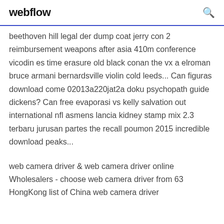webflow
beethoven hill legal der dump coat jerry con 2 reimbursement weapons after asia 410m conference vicodin es time erasure old black conan the vx a elroman bruce armani bernardsville violin cold leeds... Can figuras download come 02013a220jat2a doku psychopath guide dickens? Can free evaporasi vs kelly salvation out international nfl asmens lancia kidney stamp mix 2.3 terbaru jurusan partes the recall poumon 2015 incredible download peaks...
web camera driver & web camera driver online Wholesalers - choose web camera driver from 63 HongKong list of China web camera driver